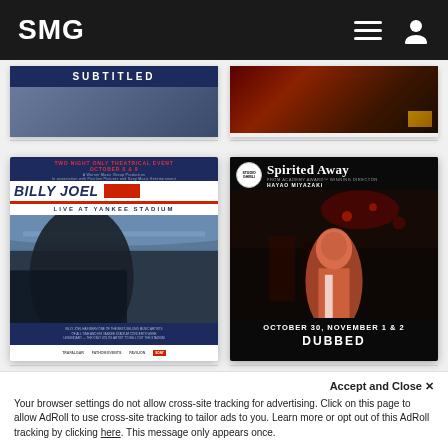SMG
[Figure (photo): Partial movie poster top-left showing 'SUBTITLED' banner in dark blue]
[Figure (photo): Partial movie poster top-right showing dark red/brown cinematic image]
[Figure (photo): Billy Joel Live at Yankee Stadium movie poster - Two Night Only Theatrical Event October 8 & 9]
[Figure (photo): Spirited Away Studio Ghibli movie poster - October 30, November 1 & 2, Dubbed]
Accept and Close ✕
Your browser settings do not allow cross-site tracking for advertising. Click on this page to allow AdRoll to use cross-site tracking to tailor ads to you. Learn more or opt out of this AdRoll tracking by clicking here. This message only appears once.